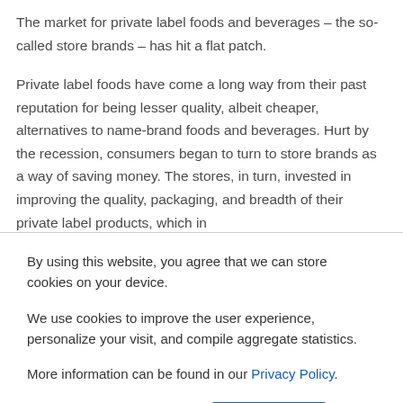The market for private label foods and beverages – the so-called store brands – has hit a flat patch.
Private label foods have come a long way from their past reputation for being lesser quality, albeit cheaper, alternatives to name-brand foods and beverages. Hurt by the recession, consumers began to turn to store brands as a way of saving money. The stores, in turn, invested in improving the quality, packaging, and breadth of their private label products, which in
By using this website, you agree that we can store cookies on your device.
We use cookies to improve the user experience, personalize your visit, and compile aggregate statistics.
More information can be found in our Privacy Policy.